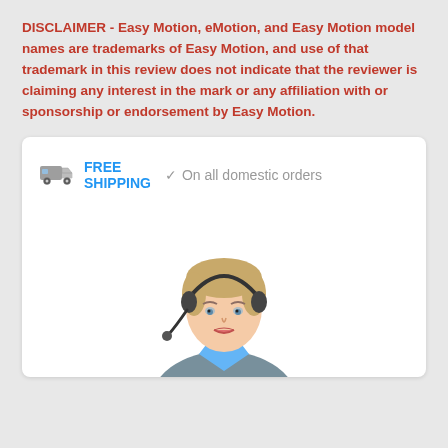DISCLAIMER - Easy Motion, eMotion, and Easy Motion model names are trademarks of Easy Motion, and use of that trademark in this review does not indicate that the reviewer is claiming any interest in the mark or any affiliation with or sponsorship or endorsement by Easy Motion.
[Figure (infographic): Free shipping banner with truck icon and text 'FREE SHIPPING  ✓ On all domestic orders', followed by a photo of a blonde female customer service representative wearing a headset and blue shirt.]